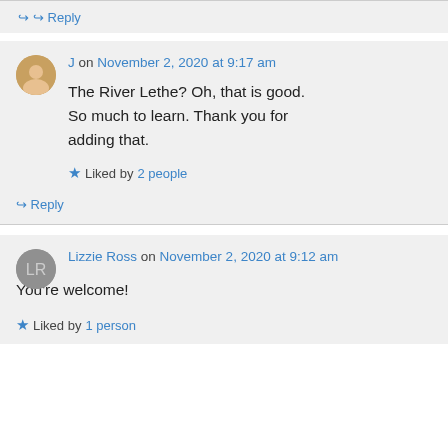↪ Reply
J on November 2, 2020 at 9:17 am
The River Lethe? Oh, that is good. So much to learn. Thank you for adding that.
★ Liked by 2 people
↪ Reply
Lizzie Ross on November 2, 2020 at 9:12 am
You're welcome!
★ Liked by 1 person